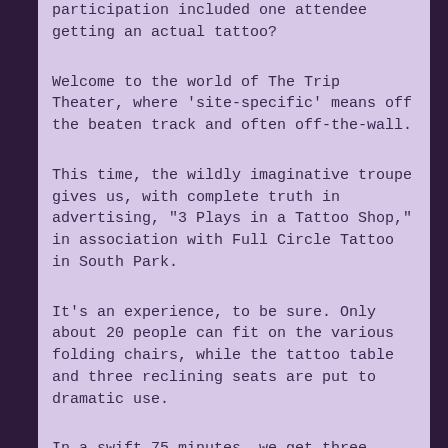participation included one attendee getting an actual tattoo?
Welcome to the world of The Trip Theater, where 'site-specific' means off the beaten track and often off-the-wall.
This time, the wildly imaginative troupe gives us, with complete truth in advertising, "3 Plays in a Tattoo Shop," in association with Full Circle Tattoo in South Park.
It's an experience, to be sure. Only about 20 people can fit on the various folding chairs, while the tattoo table and three reclining seats are put to dramatic use.
In a swift 75 minutes, we get three stories, three new works, all linked to tattoos and, as director